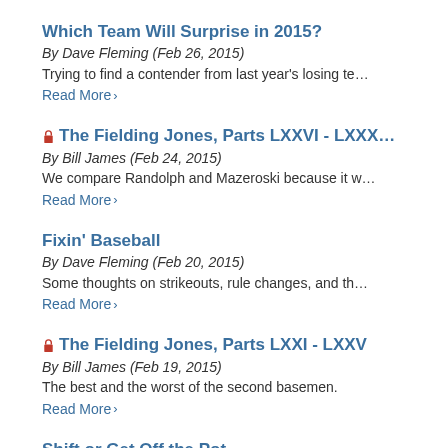Which Team Will Surprise in 2015?
By Dave Fleming (Feb 26, 2015)
Trying to find a contender from last year's losing te…
Read More
🔒 The Fielding Jones, Parts LXXVI - LXXX…
By Bill James (Feb 24, 2015)
We compare Randolph and Mazeroski because it w…
Read More
Fixin' Baseball
By Dave Fleming (Feb 20, 2015)
Some thoughts on strikeouts, rule changes, and th…
Read More
🔒 The Fielding Jones, Parts LXXI - LXXV
By Bill James (Feb 19, 2015)
The best and the worst of the second basemen.
Read More
Shift or Get Off the Pot
By John Dewan (Feb 15, 2015)
An excerpt from the upcoming Fielding Bible-Volum…